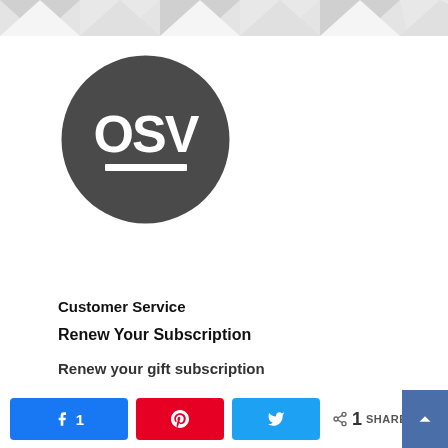[Figure (logo): OSV circular logo — dark gray circle with white bold text 'OSV' and a white underline bar beneath]
Customer Service
Renew Your Subscription
Renew your gift subscription
1 SHARES — social share bar with Facebook (1), Pinterest, Twitter buttons and back-to-top arrow